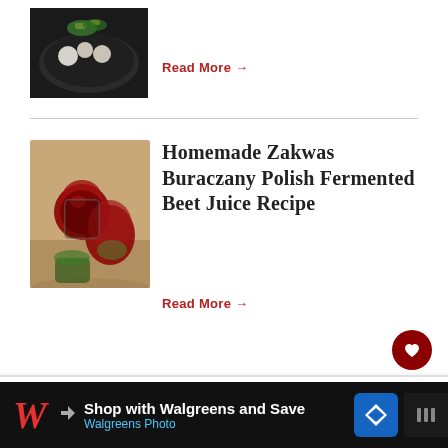[Figure (photo): Food photo showing a dark bowl with colorful ingredients including corn, herbs, and white cheese/cauliflower]
Read More →
[Figure (photo): Photo of homemade beet juice in a glass cup surrounded by beets on a burlap/textile background]
Homemade Zakwas Buraczany Polish Fermented Beet Juice Recipe
Read More →
YIELD:  6
Polish Leek Salad Re...
[Figure (photo): Thumbnail of Polish Carrot Salad Recipe]
WHAT'S NEXT → Polish Carrot Salad Recip...
Shop with Walgreens and Save Walgreens Photo